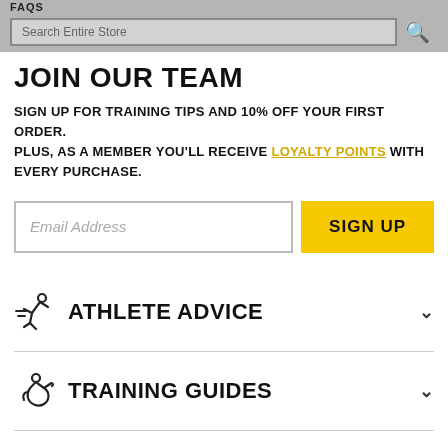FAQS — Search Entire Store
JOIN OUR TEAM
SIGN UP FOR TRAINING TIPS AND 10% OFF YOUR FIRST ORDER. PLUS, AS A MEMBER YOU'LL RECEIVE LOYALTY POINTS WITH EVERY PURCHASE.
Email Address [input field] SIGN UP [button]
ATHLETE ADVICE
TRAINING GUIDES